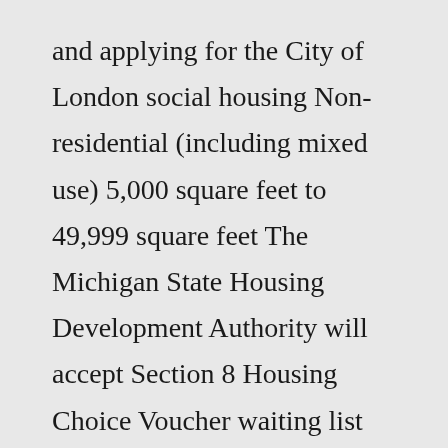and applying for the City of London social housing Non-residential (including mixed use) 5,000 square feet to 49,999 square feet The Michigan State Housing Development Authority will accept Section 8 Housing Choice Voucher waiting list applications for Gladwin, Huron, Montcalm, Newaygo, Osceola, Sanilac and Tuscola County from May 24, 2022 at 9:00 am, until June 22, 2022 3:00 pm ET Introduction 5 star (s)